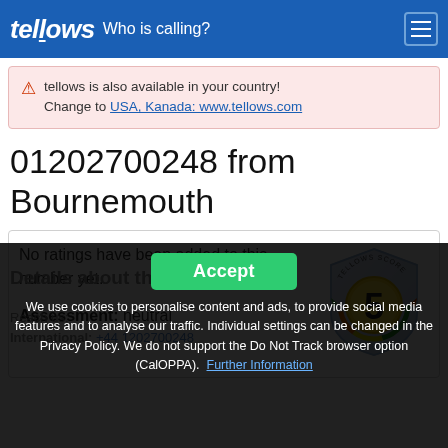tellows Who is calling?
tellows is also available in your country! Change to USA, Kanada: www.tellows.com
01202700248 from Bournemouth
No ratings have been added to this number yet.
Assessment: neutral
[Figure (other): Tellows score badge showing score of 5 (neutral)]
Details about the number
We use cookies to personalise content and ads, to provide social media features and to analyse our traffic. Individual settings can be changed in the Privacy Policy. We do not support the Do Not Track browser option (CalOPPA). Further Information
International: +44 1202700248